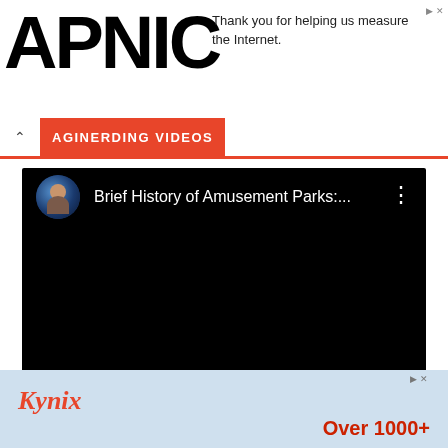[Figure (screenshot): APNIC logo in large bold black text]
Thank you for helping us measure the Internet.
AGINERDING VIDEOS
[Figure (screenshot): Embedded YouTube-style video player with black background showing 'Brief History of Amusement Parks:...' with a circular avatar thumbnail and three-dot menu icon]
[Figure (screenshot): Kynix advertisement banner with light blue background showing Kynix logo in red italic text and 'Over 1000+' in bold red]